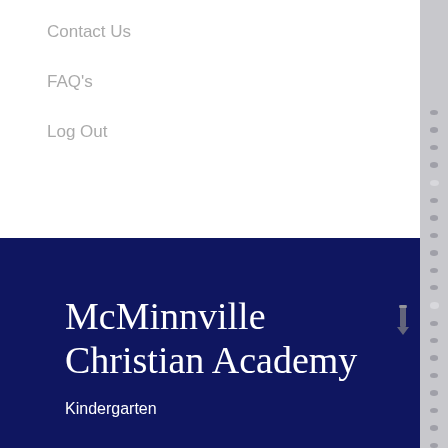Contact Us
FAQ's
Log Out
McMinnville Christian Academy
Kindergarten